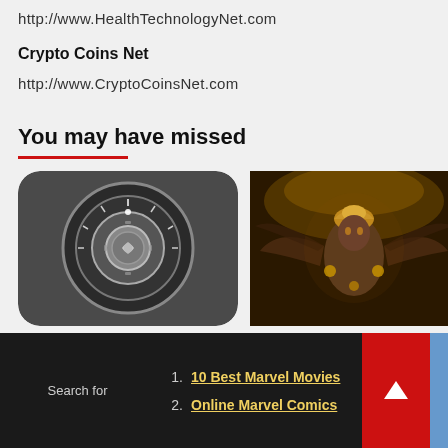http://www.HealthTechnologyNet.com
Crypto Coins Net
http://www.CryptoCoinsNet.com
You may have missed
[Figure (photo): App icon with a dial/lock combination interface, dark grey rounded square]
[Figure (photo): Fantasy/movie creature with golden Egyptian-style armor and wings, dark scene]
1. 10 Best Marvel Movies
2. Online Marvel Comics
Search for